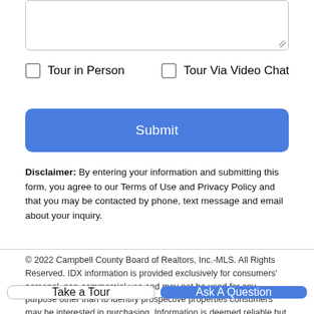[Figure (screenshot): Text area input box with resize handle at bottom right corner]
Tour in Person
Tour Via Video Chat
Submit
Disclaimer: By entering your information and submitting this form, you agree to our Terms of Use and Privacy Policy and that you may be contacted by phone, text message and email about your inquiry.
© 2022 Campbell County Board of Realtors, Inc.-MLS. All Rights Reserved. IDX information is provided exclusively for consumers' personal, non-commercial use and may not be used for any purpose other than to identify prospective properties consumers may be interested in purchasing. Information is deemed reliable but is not guaranteed accurate by the MLS or The Wernsmann
Take a Tour
Ask A Question